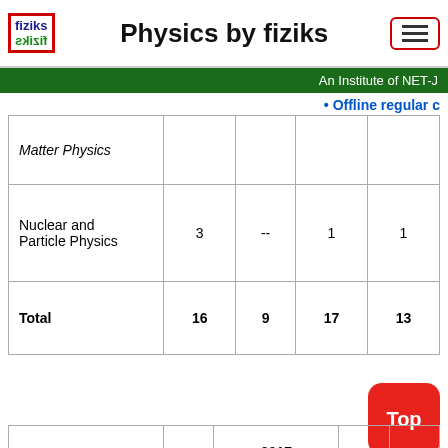Physics by fiziks
An Institute of NET-J
• Offline regular c
| Subject |  |  |  |  |
| --- | --- | --- | --- | --- |
| Matter Physics |  |  |  |  |
| Nuclear and Particle Physics | 3 | -- | 1 | 1 |
| Total | 16 | 9 | 17 | 13 |
|  |  | 2017 |  |  |
| --- | --- | --- | --- | --- |
|  |  | 2017 |  |  |